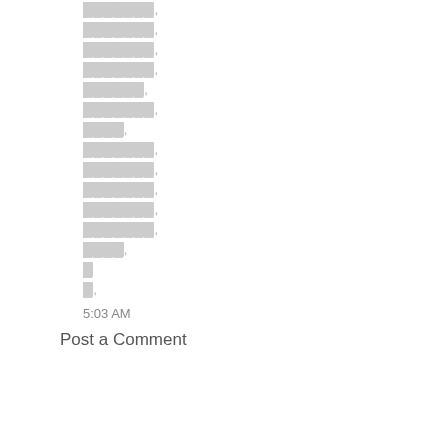[redacted],
[redacted],
[redacted],
[redacted],
[redacted],
[redacted],
[redacted],
[redacted],
[redacted],
[redacted],
[redacted],
[redacted],
[redacted],
[redacted]
[redacted],
5:03 AM
Post a Comment